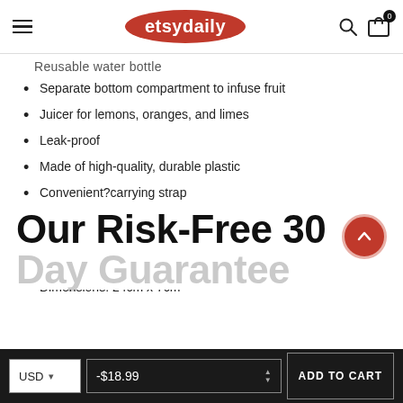etsydaily
Reusable water bottle
Separate bottom compartment to infuse fruit
Juicer for lemons, oranges, and limes
Leak-proof
Made of high-quality, durable plastic
Convenient?carrying strap
7 color options: Pink, Orange, Yellow, Green, Blue, White, Black
Holds 650ml
Dimensions: 24cm x 7cm
Our Risk-Free 30 Day Guarantee
USD  -$18.99  ADD TO CART